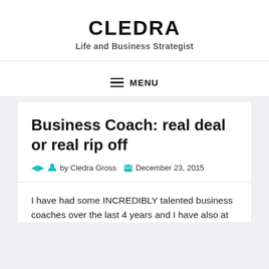CLEDRA
Life and Business Strategist
≡ MENU
Business Coach: real deal or real rip off
by Cledra Gross   December 23, 2015
I have had some INCREDIBLY talented business coaches over the last 4 years and I have also at